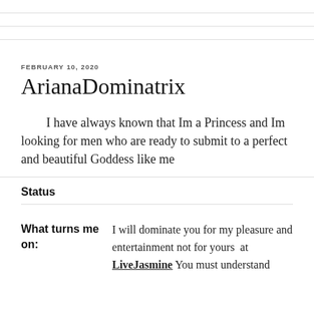POSTED ON
FEBRUARY 10, 2020
ArianaDominatrix
I have always known that Im a Princess and Im looking for men who are ready to submit to a perfect and beautiful Goddess like me
Status
What turns me on: I will dominate you for my pleasure and entertainment not for yours at LiveJasmine You must understand that...